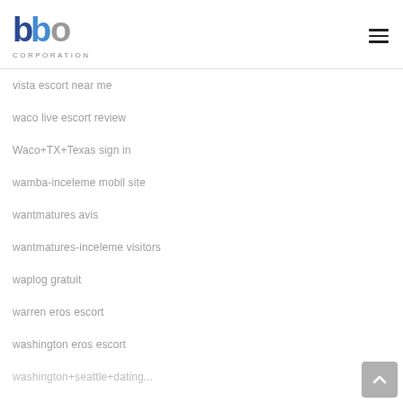[Figure (logo): BBP Corporation logo with blue and grey letters and CORPORATION text below]
vista escort near me
waco live escort review
Waco+TX+Texas sign in
wamba-inceleme mobil site
wantmatures avis
wantmatures-inceleme visitors
waplog gratuit
warren eros escort
washington eros escort
washington+seattle+dating+sign+in